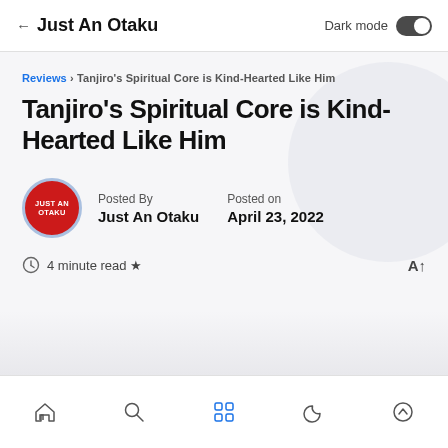Just An Otaku
Reviews › Tanjiro's Spiritual Core is Kind-Hearted Like Him
Tanjiro's Spiritual Core is Kind-Hearted Like Him
Posted By Just An Otaku | Posted on April 23, 2022
4 minute read ★
Bottom navigation bar with home, search, grid, moon, and up icons